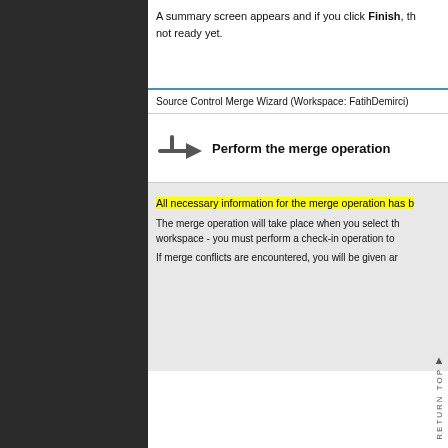A summary screen appears and if you click Finish, the not ready yet.
[Figure (screenshot): Source Control Merge Wizard dialog showing 'Perform the merge operation' step with an arrow icon. Body text includes highlighted sentence 'All necessary information for the merge operation has b...' and additional instructions about merge operation and check-in, and merge conflicts.]